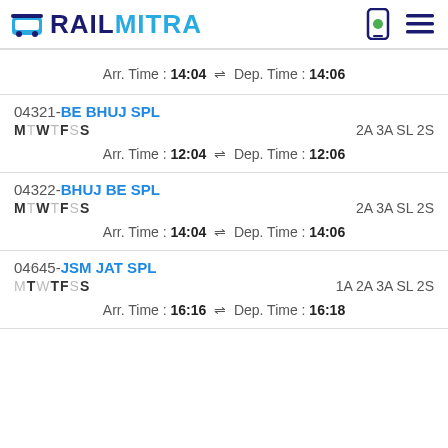RAILMITRA
Arr. Time : 14:04 ⇌ Dep. Time : 14:06
04321-BE BHUJ SPL MTWTFSS 2A 3A SL 2S Arr. Time : 12:04 ⇌ Dep. Time : 12:06
04322-BHUJ BE SPL MTWTFSS 2A 3A SL 2S Arr. Time : 14:04 ⇌ Dep. Time : 14:06
04645-JSM JAT SPL MTWTFSS 1A 2A 3A SL 2S Arr. Time : 16:16 ⇌ Dep. Time : 16:18